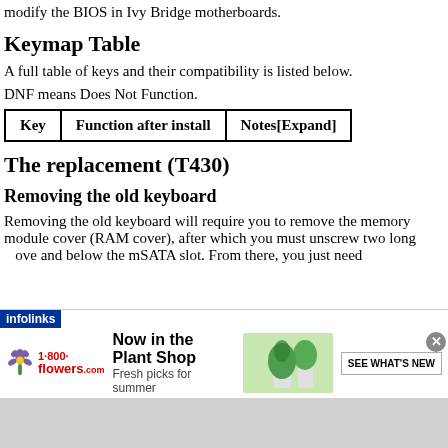modify the BIOS in Ivy Bridge motherboards.
Keymap Table
A full table of keys and their compatibility is listed below.
DNF means Does Not Function.
| Key | Function after install | Notes[Expand] |
| --- | --- | --- |
The replacement (T430)
Removing the old keyboard
Removing the old keyboard will require you to remove the memory module cover (RAM cover), after which you must unscrew two long ...ove and below the mSATA slot. From there, you just need
[Figure (other): 1-800-flowers.com advertisement banner with plant shop promotion and 'SEE WHAT'S NEW' button, with infolinks bar and close button]